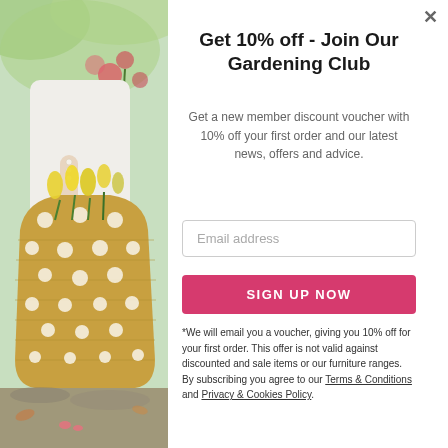[Figure (photo): Woman in white dress holding a wicker bag with yellow tulips, standing outdoors in a garden setting]
Get 10% off - Join Our Gardening Club
Get a new member discount voucher with 10% off your first order and our latest news, offers and advice.
Email address
SIGN UP NOW
*We will email you a voucher, giving you 10% off for your first order. This offer is not valid against discounted and sale items or our furniture ranges. By subscribing you agree to our Terms & Conditions and Privacy & Cookies Policy.